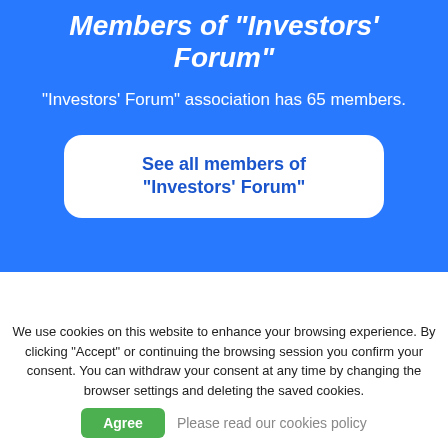Members of "Investors' Forum"
"Investors' Forum" association has 65 members.
See all members of “Investors’ Forum”
[Figure (screenshot): Green banner section partially visible with blue shapes]
We use cookies on this website to enhance your browsing experience. By clicking "Accept" or continuing the browsing session you confirm your consent. You can withdraw your consent at any time by changing the browser settings and deleting the saved cookies.
Agree
Please read our cookies policy